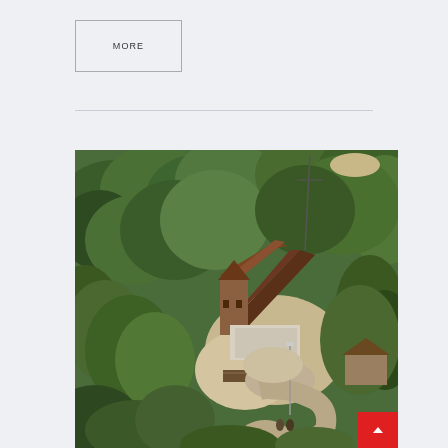MORE
[Figure (photo): Aerial view of a wooden church or chapel with steep dark roof surrounded by dense green forest trees. A gravel path leads to the entrance. Small outbuildings visible nearby.]